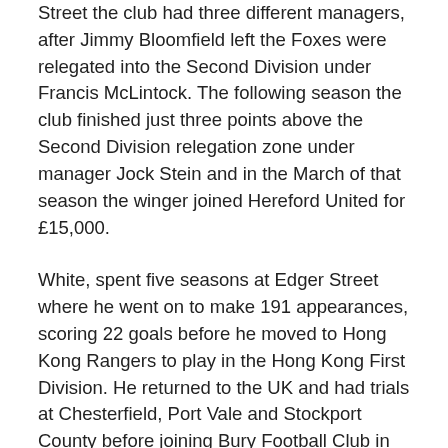Street the club had three different managers, after Jimmy Bloomfield left the Foxes were relegated into the Second Division under Francis McLintock. The following season the club finished just three points above the Second Division relegation zone under manager Jock Stein and in the March of that season the winger joined Hereford United for £15,000.
White, spent five seasons at Edger Street where he went on to make 191 appearances, scoring 22 goals before he moved to Hong Kong Rangers to play in the Hong Kong First Division. He returned to the UK and had trials at Chesterfield, Port Vale and Stockport County before joining Bury Football Club in the Fourth Division under former Clarets midfielder Martin Dobson.
Having joined Colchester United on a free transfer in